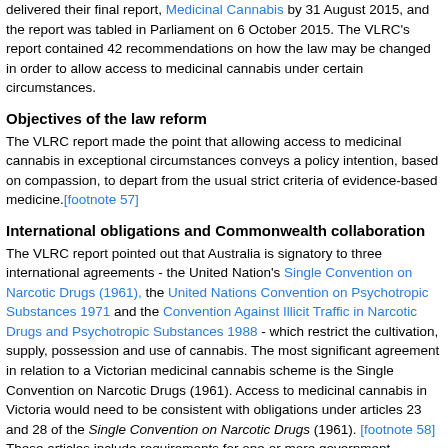delivered their final report, Medicinal Cannabis by 31 August 2015, and the report was tabled in Parliament on 6 October 2015. The VLRC's report contained 42 recommendations on how the law may be changed in order to allow access to medicinal cannabis under certain circumstances.
Objectives of the law reform
The VLRC report made the point that allowing access to medicinal cannabis in exceptional circumstances conveys a policy intention, based on compassion, to depart from the usual strict criteria of evidence-based medicine.[footnote 57]
International obligations and Commonwealth collaboration
The VLRC report pointed out that Australia is signatory to three international agreements - the United Nation's Single Convention on Narcotic Drugs (1961), the United Nations Convention on Psychotropic Substances 1971 and the Convention Against Illicit Traffic in Narcotic Drugs and Psychotropic Substances 1988 - which restrict the cultivation, supply, possession and use of cannabis. The most significant agreement in relation to a Victorian medicinal cannabis scheme is the Single Convention on Narcotic Drugs (1961). Access to medicinal cannabis in Victoria would need to be consistent with obligations under articles 23 and 28 of the Single Convention on Narcotic Drugs (1961). [footnote 58] These articles include requirements for one or more government agencies to license cultivation and take physical possession of all crops. There are also reporting requirements to the International Narcotics Control Board. [footnote 59] To be compliant, the VLRC highlighted several ways in which